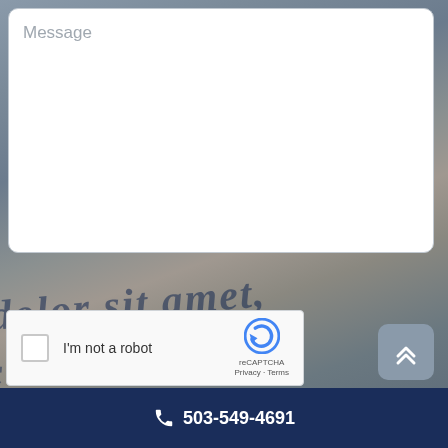[Figure (screenshot): Message textarea input box with placeholder text 'Message', white background with rounded border]
[Figure (screenshot): reCAPTCHA widget with checkbox, 'I'm not a robot' label, reCAPTCHA logo, Privacy and Terms links]
SEND
503-549-4691